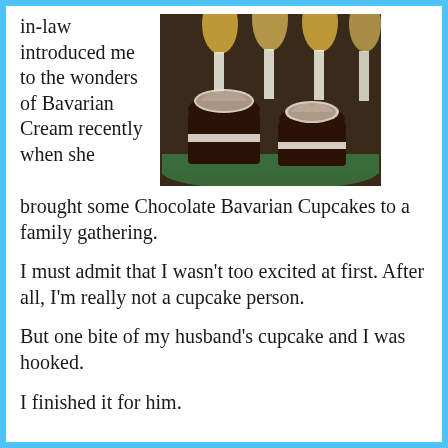in-law introduced me to the wonders of Bavarian Cream recently when she brought some Chocolate Bavarian Cupcakes to a family gathering.
[Figure (photo): Chocolate Bavarian Cream cupcakes with white cream filling on a green plate, with lit candles in the background]
I must admit that I wasn't too excited at first. After all, I'm really not a cupcake person.
But one bite of my husband's cupcake and I was hooked.
I finished it for him.